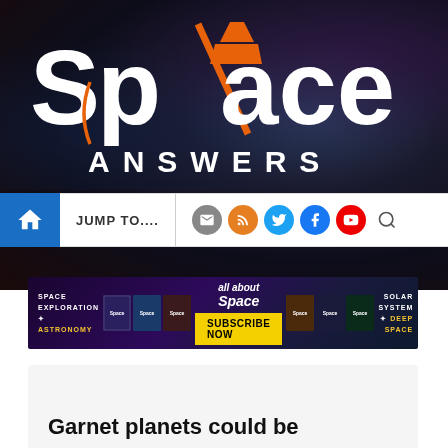[Figure (logo): Space Answers magazine logo with rocket ship graphic, white text on dark space background]
[Figure (screenshot): Navigation bar with home icon, JUMP TO... text, and social media icons (email, RSS, Twitter, Facebook, YouTube, search)]
[Figure (infographic): All About Space magazine subscription banner ad with magazine covers, SUBSCRIBE NOW button in yellow, SPACE EXPLORATION, ASTRONOMY, SOLAR SYSTEM, DEEP SPACE labels]
Garnet planets could be